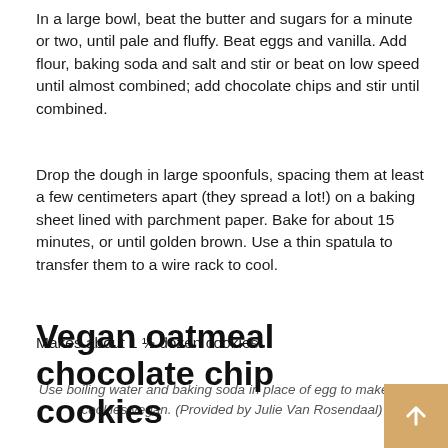In a large bowl, beat the butter and sugars for a minute or two, until pale and fluffy. Beat eggs and vanilla. Add flour, baking soda and salt and stir or beat on low speed until almost combined; add chocolate chips and stir until combined.
Drop the dough in large spoonfuls, spacing them at least a few centimeters apart (they spread a lot!) on a baking sheet lined with parchment paper. Bake for about 15 minutes, or until golden brown. Use a thin spatula to transfer them to a wire rack to cool.
Makes about 1 ½ dozen cookies.
Use boiling water and baking soda in place of egg to make these cookies vegan. (Provided by Julie Van Rosendaal)
Vegan oatmeal chocolate chip cookies